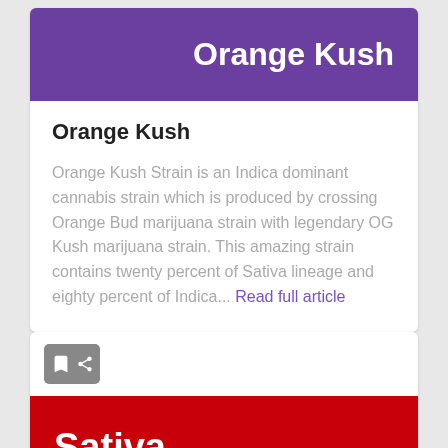[Figure (illustration): Purple banner with 'Orange Kush' title text in white on purple background]
Orange Kush
Orange Kush Strain is an Indica dominant cannabis strain which is produced by crossing Orange Bud marijuana strain with legendary OG Kush marijuana strain. This amazing strain contains twenty percent of Sativa lineage and eighty percent of Indica... Read full article
[Figure (illustration): Red banner with 'Sativa' title text in white on red background, with partial circular shapes at the bottom]